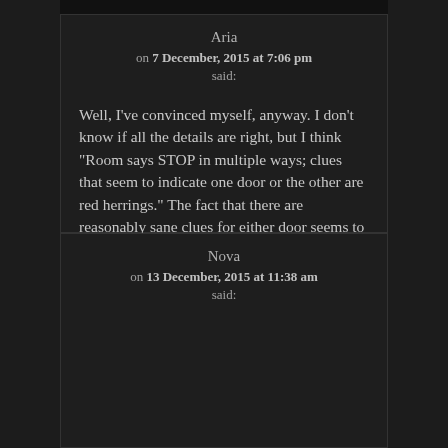Aria
on 7 December, 2015 at 7:06 pm
said:
Well, I've convinced myself, anyway. I don't know if all the details are right, but I think “Room says STOP in multiple ways; clues that seem to indicate one door or the other are red herrings.” The fact that there are reasonably sane clues for either door seems to support this.
LIKE 🕯 (0)
Nova
on 13 December, 2015 at 11:38 am
said: